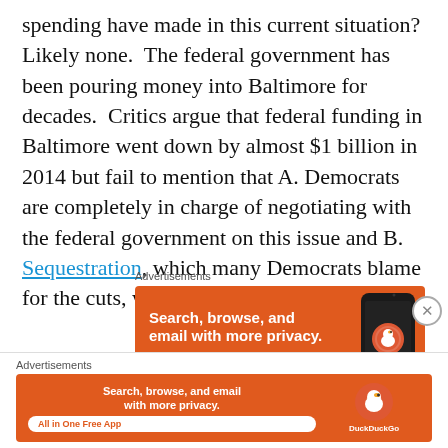spending have made in this current situation?  Likely none.  The federal government has been pouring money into Baltimore for decades.  Critics argue that federal funding in Baltimore went down by almost $1 billion in 2014 but fail to mention that A. Democrats are completely in charge of negotiating with the federal government on this issue and B. Sequestration, which many Democrats blame for the cuts, was President Obama's idea.
[Figure (screenshot): DuckDuckGo advertisement banner (large): orange background, white bold text 'Search, browse, and email with more privacy.' with 'All in One Free App' button, and a smartphone image on the right.]
[Figure (screenshot): DuckDuckGo advertisement banner (bottom bar, smaller): orange background, white text 'Search, browse, and email with more privacy. All in One Free App', DuckDuckGo logo and label on the right.]